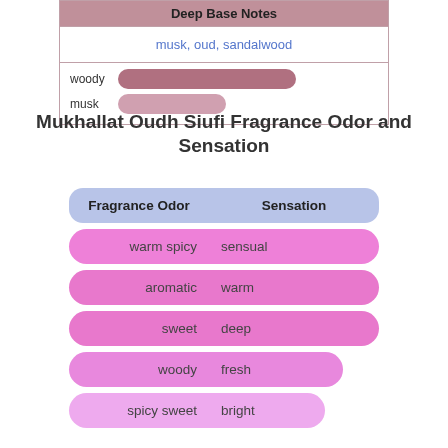| Deep Base Notes |
| --- |
| musk, oud, sandalwood |
| woody [bar] | musk [bar] |
Mukhallat Oudh Siufi Fragrance Odor and Sensation
| Fragrance Odor | Sensation |
| --- | --- |
| warm spicy | sensual |
| aromatic | warm |
| sweet | deep |
| woody | fresh |
| spicy sweet | bright |